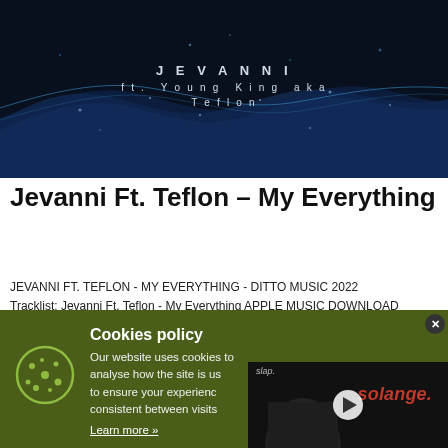[Figure (photo): Dark banner with blue particle wave pattern and white text 'JEVANNI ft. Young King aka Teflon' on dark background]
Jevanni Ft. Teflon – My Everything
JEVANNI FT. TEFLON - MY EVERYTHING - DITTO MUSIC 2022
Tracklist: Jevanni Ft. Teflon - My Everything APPLE MUSIC DOWNLOAD LISTEN ON SPOTIFY httpv://youtu.be/qdwuY_YRz24
PROMO DOWNLOAD
Cookies policy
Our website uses cookies to analyse how the site is used, to ensure your experience is consistent between visits.
Learn more »